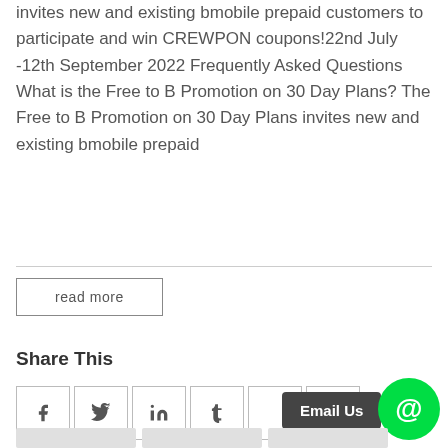invites new and existing bmobile prepaid customers to participate and win CREWPON coupons!22nd July -12th September 2022 Frequently Asked Questions What is the Free to B Promotion on 30 Day Plans? The Free to B Promotion on 30 Day Plans invites new and existing bmobile prepaid
read more
Share This
[Figure (other): Social sharing icons: Facebook (f), Twitter (bird), LinkedIn (in), Tumblr (t), and two more icon boxes. An Email Us tooltip and a green @ circle button are shown.]